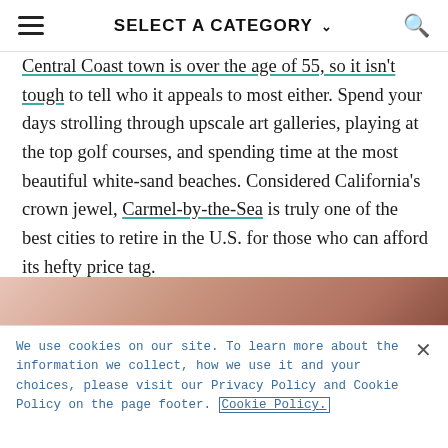SELECT A CATEGORY
Central Coast town is over the age of 55, so it isn't tough to tell who it appeals to most either. Spend your days strolling through upscale art galleries, playing at the top golf courses, and spending time at the most beautiful white-sand beaches. Considered California's crown jewel, Carmel-by-the-Sea is truly one of the best cities to retire in the U.S. for those who can afford its hefty price tag.
[Figure (photo): Partial photo strip — appears to be a coastal or landscape image, warm tones]
We use cookies on our site. To learn more about the information we collect, how we use it and your choices, please visit our Privacy Policy and Cookie Policy on the page footer. Cookie Policy.